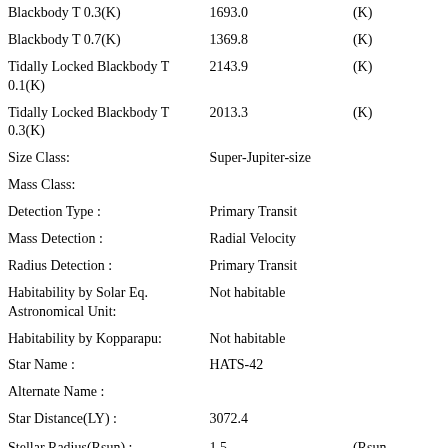| Blackbody T 0.3(K) | 1693.0 | (K) |
| Blackbody T 0.7(K) | 1369.8 | (K) |
| Tidally Locked Blackbody T 0.1(K) | 2143.9 | (K) |
| Tidally Locked Blackbody T 0.3(K) | 2013.3 | (K) |
| Size Class: | Super-Jupiter-size |  |
| Mass Class: |  |  |
| Detection Type : | Primary Transit |  |
| Mass Detection : | Radial Velocity |  |
| Radius Detection : | Primary Transit |  |
| Habitability by Solar Eq. Astronomical Unit: | Not habitable |  |
| Habitability by Kopparapu: | Not habitable |  |
| Star Name : | HATS-42 |  |
| Alternate Name : |  |  |
| Star Distance(LY) : | 3072.4 |  |
| Stellar Radius(Rsun) : | 1.5 | (Rsun Measure |
| Stellar Mass(Msun) : | 1.3 | (Msun Measure |
| Star Age : | 2.2 | (GY) |